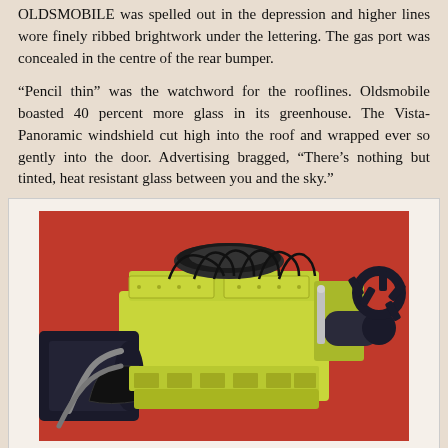OLDSMOBILE was spelled out in the depression and higher lines wore finely ribbed brightwork under the lettering. The gas port was concealed in the centre of the rear bumper.
“Pencil thin” was the watchword for the rooflines. Oldsmobile boasted 40 percent more glass in its greenhouse. The Vista-Panoramic windshield cut high into the roof and wrapped ever so gently into the door. Advertising bragged, “There’s nothing but tinted, heat resistant glass between you and the sky.”
[Figure (photo): A yellow Oldsmobile Rocket Engine displayed against a red background, showing the full engine block with carburetor on top, wiring, accessories, and attached transmission.]
Consumers could choose from a full half-dozen Rocket Engines for their 1959 Oldsmobiles.